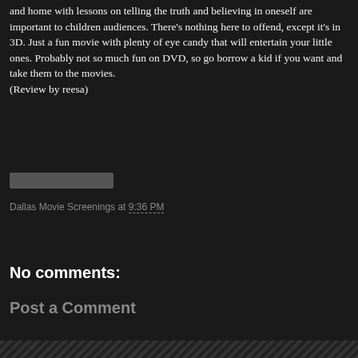and home with lessons on telling the truth and believing in oneself are important to children audiences. There's nothing here to offend, except it's in 3D. Just a fun movie with plenty of eye candy that will entertain your little ones. Probably not so much fun on DVD, so go borrow a kid if you want and take them to the movies.
(Review by reesa)
[Figure (other): Gray rectangle UI element (possibly a rating bar or image placeholder)]
Dallas Movie Screenings at 9:36 PM
Share
No comments:
Post a Comment